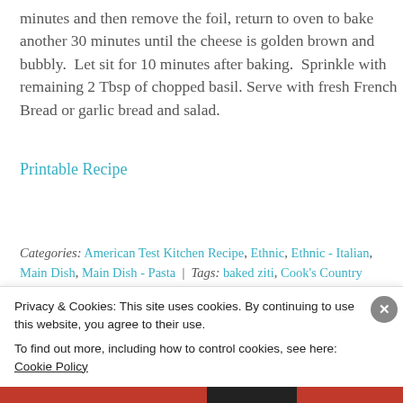minutes and then remove the foil, return to oven to bake another 30 minutes until the cheese is golden brown and bubbly.  Let sit for 10 minutes after baking.  Sprinkle with remaining 2 Tbsp of chopped basil. Serve with fresh French Bread or garlic bread and salad.
Printable Recipe
Categories: American Test Kitchen Recipe, Ethnic, Ethnic - Italian, Main Dish, Main Dish - Pasta | Tags: baked ziti, Cook's Country Baked Ziti | Permalink
Privacy & Cookies: This site uses cookies. By continuing to use this website, you agree to their use. To find out more, including how to control cookies, see here: Cookie Policy
Close and accept